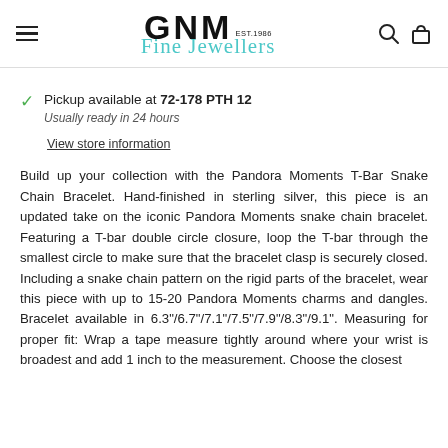[Figure (logo): GNM Fine Jewellers logo with diamond icon, EST. 1986]
Pickup available at 72-178 PTH 12
Usually ready in 24 hours
View store information
Build up your collection with the Pandora Moments T-Bar Snake Chain Bracelet. Hand-finished in sterling silver, this piece is an updated take on the iconic Pandora Moments snake chain bracelet. Featuring a T-bar double circle closure, loop the T-bar through the smallest circle to make sure that the bracelet clasp is securely closed. Including a snake chain pattern on the rigid parts of the bracelet, wear this piece with up to 15-20 Pandora Moments charms and dangles. Bracelet available in 6.3"/6.7"/7.1"/7.5"/7.9"/8.3"/9.1". Measuring for proper fit: Wrap a tape measure tightly around where your wrist is broadest and add 1 inch to the measurement. Choose the closest bracelet size.